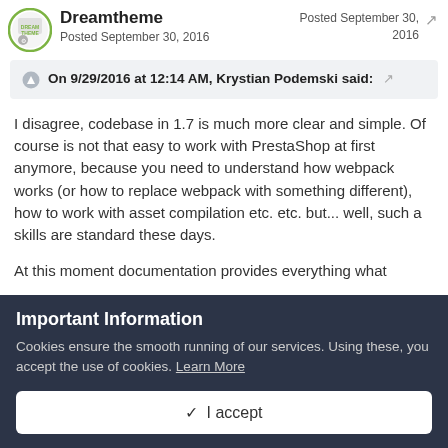Dreamtheme
Posted September 30, 2016
Posted September 30, 2016
On 9/29/2016 at 12:14 AM, Krystian Podemski said:
I disagree, codebase in 1.7 is much more clear and simple. Of course is not that easy to work with PrestaShop at first anymore, because you need to understand how webpack works (or how to replace webpack with something different), how to work with asset compilation etc. etc. but... well, such a skills are standard these days.
At this moment documentation provides everything what
Important Information
Cookies ensure the smooth running of our services. Using these, you accept the use of cookies. Learn More
✓  I accept